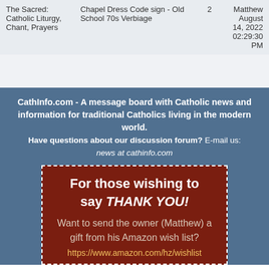| Forum | Topic | Replies | Last Post |
| --- | --- | --- | --- |
| The Sacred: Catholic Liturgy, Chant, Prayers | Chapel Dress Code sign - Old School 70s Verbiage | 2 | Matthew
August 14, 2022
02:29:30 PM |
CathInfo.com - A message board with Catholic news and information for traditional Catholics living in the modern world.
Have questions about our discussion forum? E-mail us:
news at cathinfo.com
[Figure (infographic): Dark red box with dashed white border containing donation appeal text: 'For those wishing to say THANK YOU! Want to send the owner (Matthew) a gift from his Amazon wish list? https://www.amazon.com/hz/wishlist']